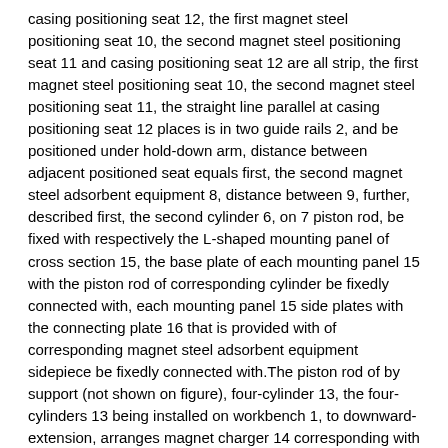casing positioning seat 12, the first magnet steel positioning seat 10, the second magnet steel positioning seat 11 and casing positioning seat 12 are all strip, the first magnet steel positioning seat 10, the second magnet steel positioning seat 11, the straight line parallel at casing positioning seat 12 places is in two guide rails 2, and be positioned under hold-down arm, distance between adjacent positioned seat equals first, the second magnet steel adsorbent equipment 8, distance between 9, further, described first, the second cylinder 6, on 7 piston rod, be fixed with respectively the L-shaped mounting panel of cross section 15, the base plate of each mounting panel 15 with the piston rod of corresponding cylinder be fixedly connected with, each mounting panel 15 side plates with the connecting plate 16 that is provided with of corresponding magnet steel adsorbent equipment sidepiece be fixedly connected with.The piston rod of by support (not shown on figure), four-cylinder 13, the four-cylinders 13 being installed on workbench 1, to downward-extension, arranges magnet charger 14 corresponding with the second magnet steel positioning seat 11 on the piston rod of four-cylinder 13.Magnet charger is provided with